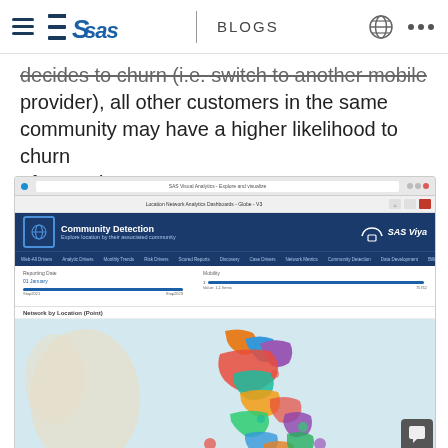SAS BLOGS
decides to churn (i.e. switch to another mobile provider), all other customers in the same community may have a higher likelihood to churn afterwards.
[Figure (screenshot): SAS Viya dashboard screenshot showing Community Detection - Location Network Analytics Dashboards - Globe - V3, with a colorful map of the Philippines showing network communities by location, with various colored regions representing different communities.]
Figure 3: Community detection identifies community...